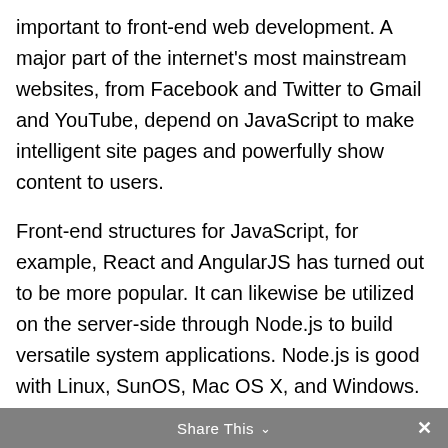important to front-end web development. A major part of the internet's most mainstream websites, from Facebook and Twitter to Gmail and YouTube, depend on JavaScript to make intelligent site pages and powerfully show content to users.
Front-end structures for JavaScript, for example, React and AngularJS has turned out to be more popular. It can likewise be utilized on the server-side through Node.js to build versatile system applications. Node.js is good with Linux, SunOS, Mac OS X, and Windows.
Share This ∨  ✕